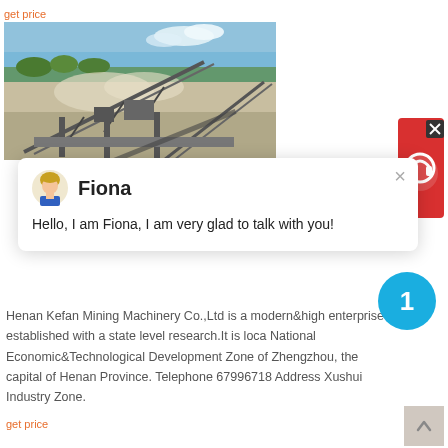get price
[Figure (photo): Industrial mining machinery and conveyor belts at an open-air quarry or mining site, with blue sky and dust in background]
Fiona
Hello, I am Fiona, I am very glad to talk with you!
Henan Kefan Mining Machinery Co.,Ltd is a modern&high enterprise established with a state level research.It is located National Economic&Technological Development Zone of Zhengzhou, the capital of Henan Province. Telephone 67996718 Address Xushui Industry Zone.
get price